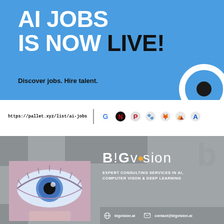AI JOBS IS NOW LIVE!
Discover jobs. Hire talent.
https://pallet.xyz/list/ai-jobs
[Figure (logo): Company logos: Google, Netflix, Pinterest, Baidu, GitLab, Airbnb, Atlassian]
[Figure (infographic): BigVision AI consulting services advertisement with close-up eye photo, BigVision logo, tagline EXPERT CONSULTING SERVICES IN AI, COMPUTER VISION & DEEP LEARNING, website bigvision.ai and contact contact@bigvision.ai]